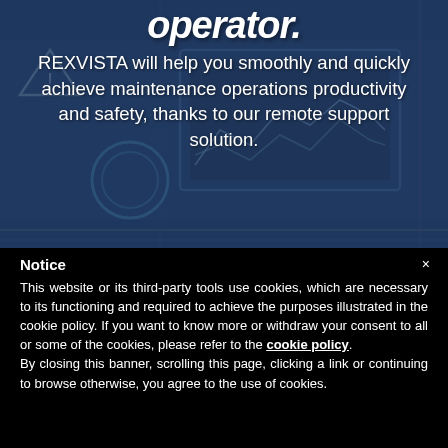operator.
REXVISTA will help you smoothly and quickly achieve maintenance operations productivity and safety, thanks to our remote support solution.
[Figure (photo): Industrial control panel / maintenance equipment background image with blue overlay, showing machinery panels and warning symbols]
Notice
This website or its third-party tools use cookies, which are necessary to its functioning and required to achieve the purposes illustrated in the cookie policy. If you want to know more or withdraw your consent to all or some of the cookies, please refer to the cookie policy. By closing this banner, scrolling this page, clicking a link or continuing to browse otherwise, you agree to the use of cookies.